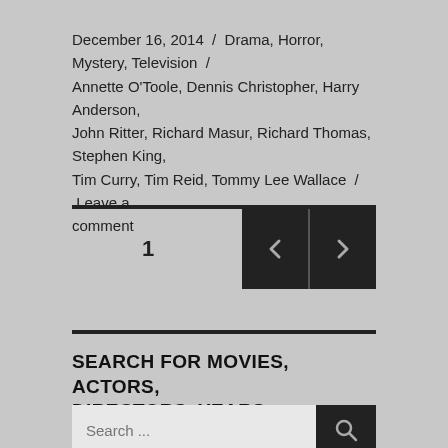December 16, 2014 / Drama, Horror, Mystery, Television / Annette O'Toole, Dennis Christopher, Harry Anderson, John Ritter, Richard Masur, Richard Thomas, Stephen King, Tim Curry, Tim Reid, Tommy Lee Wallace / Leave a comment
1
SEARCH FOR MOVIES, ACTORS, DIRECTORS, YEARS...
Search ...